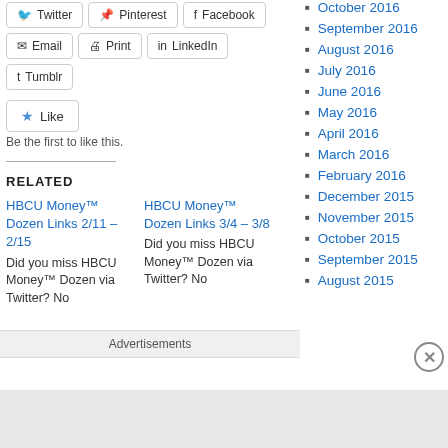Twitter
Pinterest
Facebook
Email
Print
LinkedIn
Tumblr
Like
Be the first to like this.
RELATED
HBCU Money™ Dozen Links 2/11 – 2/15
Did you miss HBCU Money™ Dozen via Twitter? No
HBCU Money™ Dozen Links 3/4 – 3/8
Did you miss HBCU Money™ Dozen via Twitter? No
Advertisements
October 2016
September 2016
August 2016
July 2016
June 2016
May 2016
April 2016
March 2016
February 2016
December 2015
November 2015
October 2015
September 2015
August 2015